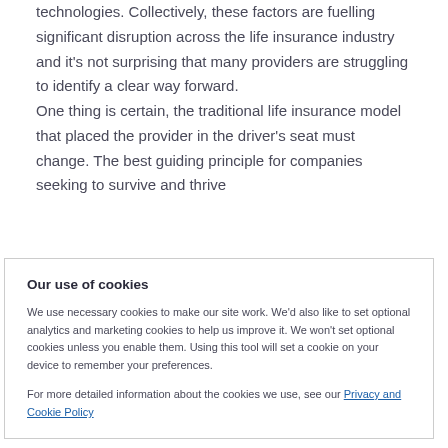technologies. Collectively, these factors are fuelling significant disruption across the life insurance industry and it's not surprising that many providers are struggling to identify a clear way forward.
One thing is certain, the traditional life insurance model that placed the provider in the driver's seat must change. The best guiding principle for companies seeking to survive and thrive
Our use of cookies
We use necessary cookies to make our site work. We'd also like to set optional analytics and marketing cookies to help us improve it. We won't set optional cookies unless you enable them. Using this tool will set a cookie on your device to remember your preferences.
For more detailed information about the cookies we use, see our Privacy and Cookie Policy